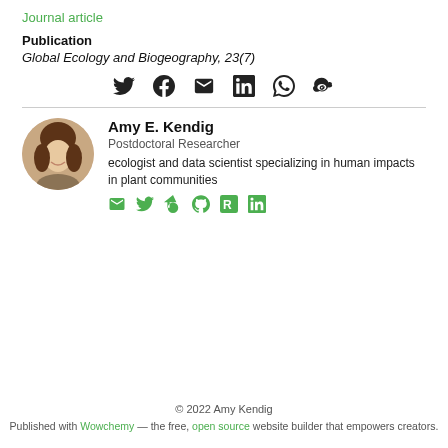Journal article
Publication
Global Ecology and Biogeography, 23(7)
[Figure (other): Social share icons: Twitter, Facebook, Email, LinkedIn, WhatsApp, Weibo]
Amy E. Kendig
Postdoctoral Researcher
ecologist and data scientist specializing in human impacts in plant communities
[Figure (other): Author social icons: Email, Twitter, Google Scholar, GitHub, ResearchGate, LinkedIn]
© 2022 Amy Kendig
Published with Wowchemy — the free, open source website builder that empowers creators.